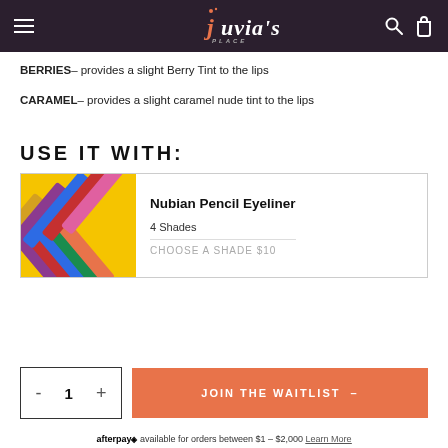Juvia's Place
BERRIES– provides a slight Berry Tint to the lips
CARAMEL– provides a slight caramel nude tint to the lips
USE IT WITH:
[Figure (photo): Nubian Pencil Eyeliner product photo showing colorful pencil eyeliners in a cross-hatch arrangement on yellow background]
Nubian Pencil Eyeliner
4 Shades
CHOOSE A SHADE $10
- 1 +
JOIN THE WAITLIST →
afterpay◈ available for orders between $1 – $2,000 Learn More